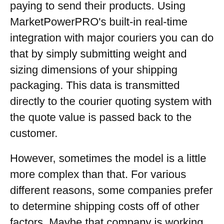paying to send their products. Using MarketPowerPRO's built-in real-time integration with major couriers you can do that by simply submitting weight and sizing dimensions of your shipping packaging. This data is transmitted directly to the courier quoting system with the quote value is passed back to the customer.
However, sometimes the model is a little more complex than that. For various different reasons, some companies prefer to determine shipping costs off of other factors. Maybe that company is working with an outside courier or maybe they've isolated a 'sweet spot' for certain shipping weights. Or, maybe they'd like to offer shipping discounts for orders exceeding a certain amount and prefer to base their shipping costs on the transaction total.